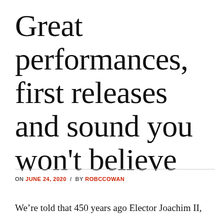Great performances, first releases and sound you won't believe
ON JUNE 24, 2020 / BY ROBCCOWAN
We're told that 450 years ago Elector Joachim II,